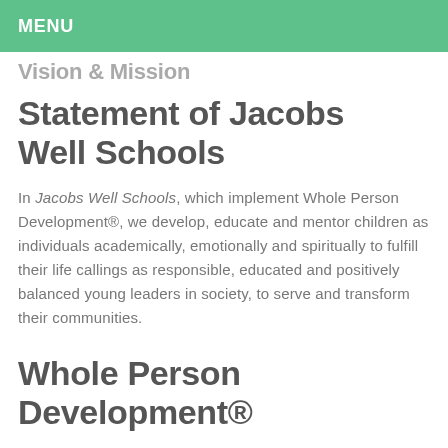MENU
Vision & Mission
Statement of Jacobs Well Schools
In Jacobs Well Schools, which implement Whole Person Development®, we develop, educate and mentor children as individuals academically, emotionally and spiritually to fulfill their life callings as responsible, educated and positively balanced young leaders in society, to serve and transform their communities.
Whole Person Development®